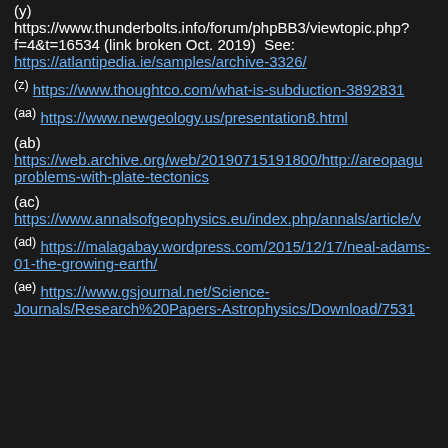(y) https://www.thunderbolts.info/forum/phpBB3/viewtopic.php?f=4&t=16534 (link broken Oct. 2019) See: https://atlantipedia.ie/samples/archive-3326/
(z) https://www.thoughtco.com/what-is-subduction-3892831
(aa) https://www.newgeology.us/presentation8.html
(ab) https://web.archive.org/web/20190715191800/http://areopagu...problems-with-plate-tectonics
(ac) https://www.annalsofgeophysics.eu/index.php/annals/article/v...
(ad) https://malagabay.wordpress.com/2015/12/17/neal-adams-01-the-growing-earth/
(ae) https://www.gsjournal.net/Science-Journals/Research%20Papers-Astrophysics/Download/7531